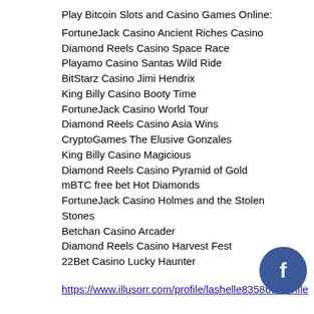Play Bitcoin Slots and Casino Games Online:
FortuneJack Casino Ancient Riches Casino
Diamond Reels Casino Space Race
Playamo Casino Santas Wild Ride
BitStarz Casino Jimi Hendrix
King Billy Casino Booty Time
FortuneJack Casino World Tour
Diamond Reels Casino Asia Wins
CryptoGames The Elusive Gonzales
King Billy Casino Magicious
Diamond Reels Casino Pyramid of Gold
mBTC free bet Hot Diamonds
FortuneJack Casino Holmes and the Stolen Stones
Betchan Casino Arcader
Diamond Reels Casino Harvest Fest
22Bet Casino Lucky Haunter
https://www.illusorr.com/profile/lashelle835869/profile